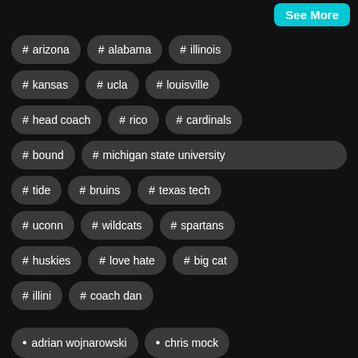See More
# arizona
# alabama
# illinois
# kansas
# ucla
# louisville
# head coach
# rico
# cardinals
# bound
# michigan state university
# tide
# bruins
# texas tech
# uconn
# wildcats
# spartans
# huskies
# love hate
# big cat
# illini
# coach dan
• adrian wojnarowski
• chris mock